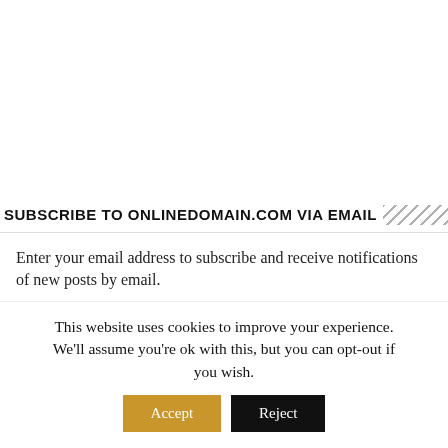SUBSCRIBE TO ONLINEDOMAIN.COM VIA EMAIL
Enter your email address to subscribe and receive notifications of new posts by email.
Email Address
SUBSCRIBE
This website uses cookies to improve your experience. We'll assume you're ok with this, but you can opt-out if you wish.
Accept
Reject